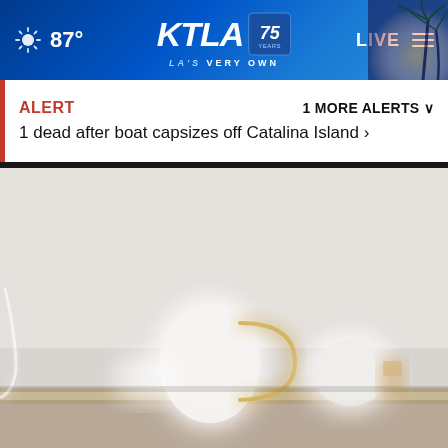KTLA 75 Years - LA's Very Own | 87° | LIVE
ALERT | 1 MORE ALERTS ∨
1 dead after boat capsizes off Catalina Island >
[Figure (photo): Blurred photo of white ceramic kitchen items including a teapot and cup with gold handle accent, and a brush, arranged on a shelf against a light gray background]